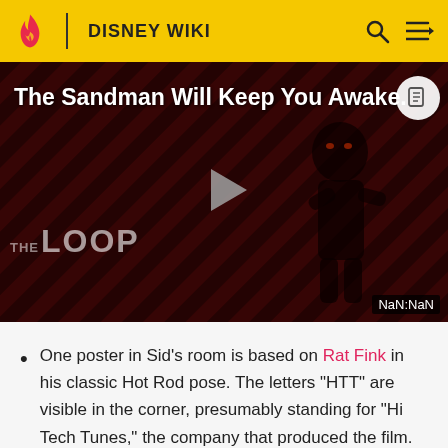DISNEY WIKI
[Figure (screenshot): Video player showing 'The Sandman Will Keep You Awake...' with The Loop branding, a figure in dark clothing, play button in center, and NaN:NaN timestamp]
One poster in Sid's room is based on Rat Fink in his classic Hot Rod pose. The letters "HTT" are visible in the corner, presumably standing for "Hi Tech Tunes," the company that produced the film.